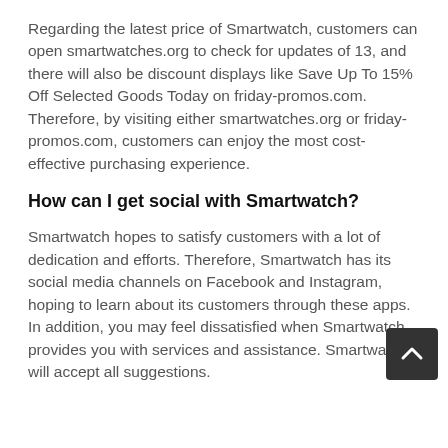Regarding the latest price of Smartwatch, customers can open smartwatches.org to check for updates of 13, and there will also be discount displays like Save Up To 15% Off Selected Goods Today on friday-promos.com. Therefore, by visiting either smartwatches.org or friday-promos.com, customers can enjoy the most cost-effective purchasing experience.
How can I get social with Smartwatch?
Smartwatch hopes to satisfy customers with a lot of dedication and efforts. Therefore, Smartwatch has its social media channels on Facebook and Instagram, hoping to learn about its customers through these apps. In addition, you may feel dissatisfied when Smartwatch provides you with services and assistance. Smartwatch will accept all suggestions.